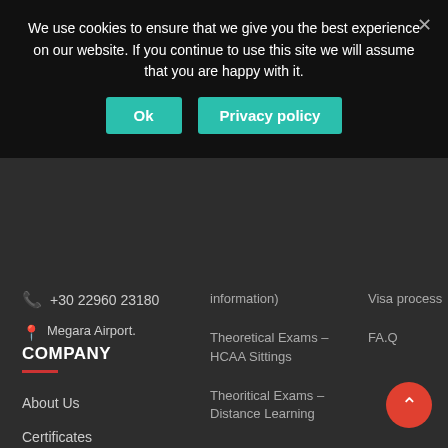We use cookies to ensure that we give you the best experience on our website. If you continue to use this site we will assume that you are happy with it.
Ok
Privacy policy
✕
📞 +30 22960 23180
📍 Megara Airport.
COMPANY
About Us
Certificates
Partners
Privacy Policy
information)
Theoretical Exams – HCAA Sittings
Theoritical Exams – Distance Learning
Subjects ATPL(H) theory
Theory by
Visa process
FA.Q